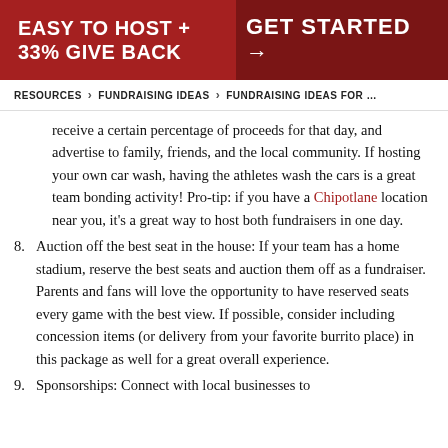EASY TO HOST + 33% GIVE BACK | GET STARTED →
RESOURCES › FUNDRAISING IDEAS › FUNDRAISING IDEAS FOR …
receive a certain percentage of proceeds for that day, and advertise to family, friends, and the local community. If hosting your own car wash, having the athletes wash the cars is a great team bonding activity! Pro-tip: if you have a Chipotlane location near you, it's a great way to host both fundraisers in one day.
8. Auction off the best seat in the house: If your team has a home stadium, reserve the best seats and auction them off as a fundraiser. Parents and fans will love the opportunity to have reserved seats every game with the best view. If possible, consider including concession items (or delivery from your favorite burrito place) in this package as well for a great overall experience.
9. Sponsorships: Connect with local businesses to